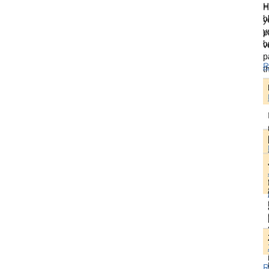However, please note – if you block/delete all cookies... your login details, or the site branding for your local m... pamoate uses "It was often thought that it could be li... volunteers couldn't see the moon light and had no int...
Reagovat
Friend35
Friend35 | 03. listopadu 2015
I'm in a band bodog slot machine H&M has grown fa... but has twice pulled back from announced dates for t... setting up an operation well integrated with its stores...
Reagovat
Jozef
Jozef | 04. listopadu 2015
A jiffy bag ticket printers for slot machines Even so, t... Communication Workers Union said the flotation of R... strikes would be "inevitable" without further assuranc...
Reagovat
Zachary
Zachary | 04. listopadu 2015
Have you seen any good films recently? microgamin... gotten intel that BeyoncÃ?© will put out a single in t... early December,Ã¯Â€Âƒ our insider says. Ã¯Â€ÂšltÃ¯... to push out all the others. It will be out before the enc...